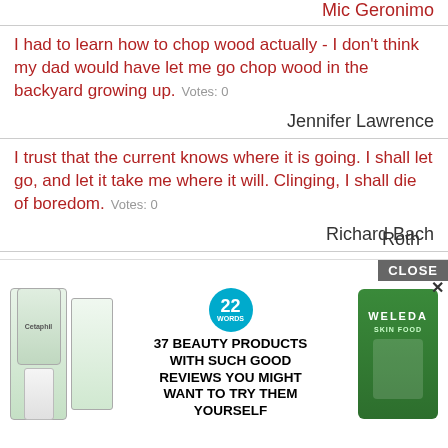Mic Geronimo
I had to learn how to chop wood actually - I don't think my dad would have let me go chop wood in the backyard growing up.  Votes: 0
Jennifer Lawrence
I trust that the current knows where it is going. I shall let go, and let it take me where it will. Clinging, I shall die of boredom.  Votes: 0
Richard Bach
It's always irritated me that people say, 'Where's the action? Oh wow, there's action here; people will ne...
Roth
[Figure (other): Advertisement overlay for '37 Beauty Products With Such Good Reviews You Might Want To Try Them Yourself' showing Cetaphil and Weleda products, with a CLOSE button.]